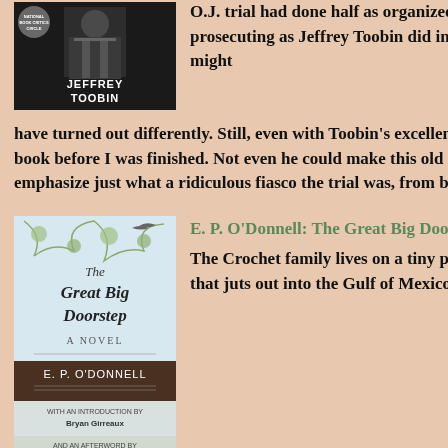[Figure (photo): Book cover of Jeffrey Toobin's book showing a man in a suit]
O.J. trial had done half as organized and thorough job of their prosecuting as Jeffrey Toobin did in the writing of this book, things might have turned out differently. Still, even with Toobin's excellent writing, I got bored with the book before I was finished. Not even he could make this old story new again. But it does emphasize just what a ridiculous fiasco the trial was, from both sides. (***)
[Figure (photo): Book cover of The Great Big Doorstep: A Novel by E. P. O'Donnell, with introduction by Bryan Girreaux and afterword by Eudora Welty]
E. P. O'Donnell: The Great Big Doorstep: A Novel
The Crochet family lives on a tiny peninsula called Grass Margin that juts out into the Gulf of Mexico at the tip end of Louisiana, an impoverished community of which the Crochets seem to be the poorest. The right to describe it this allows the...